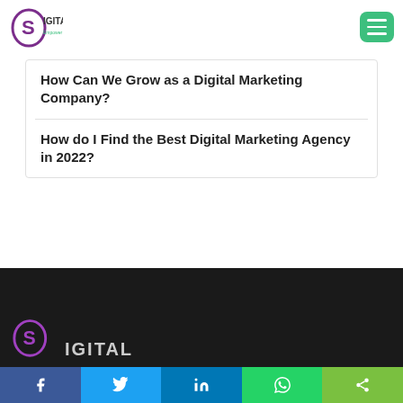Sigital – Empower Yourself [logo + hamburger menu]
How Can We Grow as a Digital Marketing Company?
How do I Find the Best Digital Marketing Agency in 2022?
[Figure (logo): Sigital logo with S in purple circle and text IGITAL, Empower Yourself in green, shown in dark footer background]
Social share bar: Facebook, Twitter, LinkedIn, WhatsApp, Share